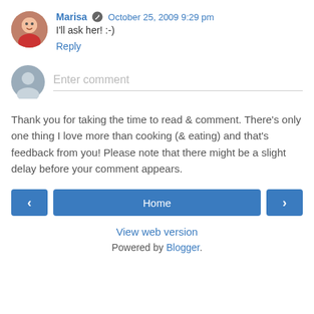Marisa  October 25, 2009 9:29 pm
I'll ask her! :-)
Reply
[Figure (other): Comment input field with gray avatar icon placeholder and 'Enter comment' placeholder text]
Thank you for taking the time to read & comment. There's only one thing I love more than cooking (& eating) and that's feedback from you! Please note that there might be a slight delay before your comment appears.
< Home >
View web version
Powered by Blogger.